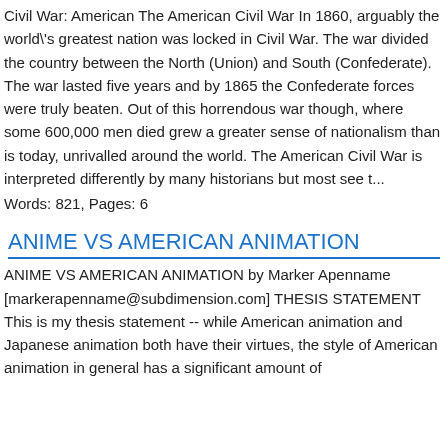Civil War: American The American Civil War In 1860, arguably the world's greatest nation was locked in Civil War. The war divided the country between the North (Union) and South (Confederate). The war lasted five years and by 1865 the Confederate forces were truly beaten. Out of this horrendous war though, where some 600,000 men died grew a greater sense of nationalism than is today, unrivalled around the world. The American Civil War is interpreted differently by many historians but most see t...
Words: 821, Pages: 6
ANIME VS AMERICAN ANIMATION
ANIME VS AMERICAN ANIMATION by Marker Apenname [markerapenname@subdimension.com] THESIS STATEMENT This is my thesis statement -- while American animation and Japanese animation both have their virtues, the style of American animation in general has a significant amount of...